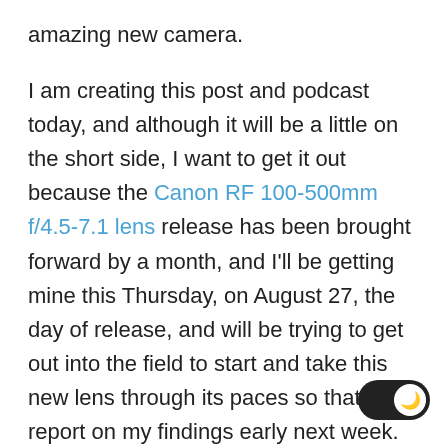amazing new camera.
I am creating this post and podcast today, and although it will be a little on the short side, I want to get it out because the Canon RF 100-500mm f/4.5-7.1 lens release has been brought forward by a month, and I'll be getting mine this Thursday, on August 27, the day of release, and will be trying to get out into the field to start and take this new lens through its paces so that I can report on my findings early next week.
Anyhow, there is generally a bit of a lag between the release of a new camera and Capture One Pro providing full support for it. I've become accustomed to that, and although I would very much prefer it if the camera manufacturers could